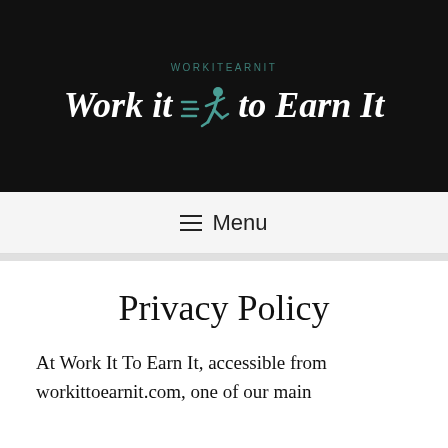Work It To Earn It
[Figure (logo): Work it to Earn It logo with running figure icon in teal, white italic script text on black background]
≡ Menu
Privacy Policy
At Work It To Earn It, accessible from workittoearnit.com, one of our main